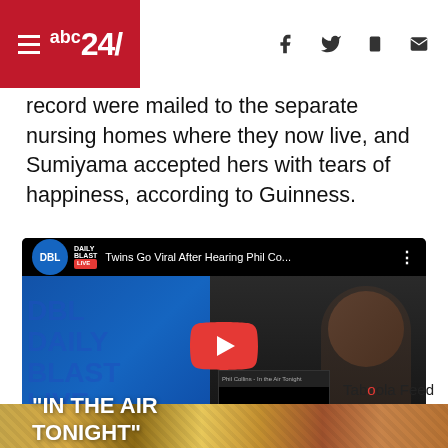abc24 — navigation header with hamburger menu, logo, and social icons (f, twitter, mobile, mail)
record were mailed to the separate nursing homes where they now live, and Sumiyama accepted hers with tears of happiness, according to Guinness.
[Figure (screenshot): YouTube-style embedded video thumbnail from Daily Blast Live (DBL) showing twins reacting to Phil Collins 'In The Air Tonight'. Left panel is blue with DBL logo and text "IN THE AIR TONIGHT". Center shows a red YouTube play button. Right panel shows a young man looking at camera.]
Twins Go Viral After Hearing Phil Co...
Taboola Feed
[Figure (photo): Bottom strip showing a golden/brown textured food or material image.]